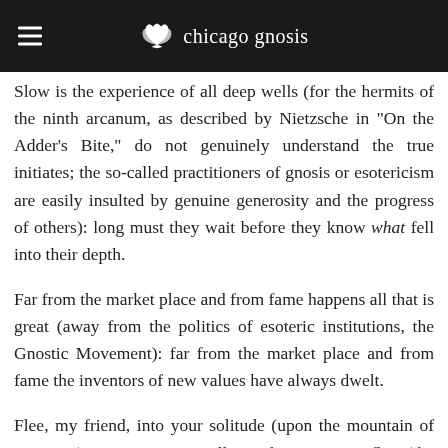chicago gnosis
back to your security. It is only in the market place (public, esoteric schools) that one is assaulted with Yes? or No? Slow is the experience of all deep wells (for the hermits of the ninth arcanum, as described by Nietzsche in "On the Adder's Bite," do not genuinely understand the true initiates; the so-called practitioners of gnosis or esotericism are easily insulted by genuine generosity and the progress of others): long must they wait before they know what fell into their depth.
Far from the market place and from fame happens all that is great (away from the politics of esoteric institutions, the Gnostic Movement): far from the market place and from fame the inventors of new values have always dwelt.
Flee, my friend, into your solitude (upon the mountain of initiation): I see you stung all over by poisonous flies (the gossip and slander of these so-called missionaries and